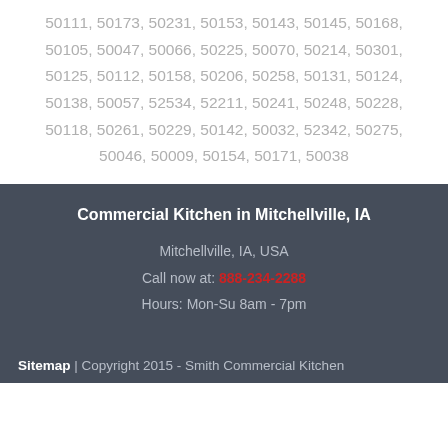50111, 50173, 50231, 50153, 50143, 50145, 50168, 50105, 50047, 50066, 50225, 50070, 50214, 50301, 50125, 50112, 50158, 50206, 50258, 50131, 50124, 50138, 50057, 52534, 52211, 50241, 50248, 50228, 50118, 50261, 50229, 50142, 50032, 52342, 50275, 50046, 50009, 50154, 50171, 50038
Commercial Kitchen in Mitchellville, IA
Mitchellville, IA, USA
Call now at: 888-234-2288
Hours: Mon-Su 8am - 7pm
Sitemap | Copyright 2015 - Smith Commercial Kitchen